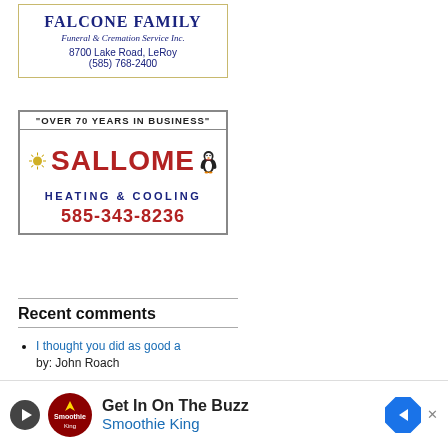[Figure (advertisement): Falcone Family Funeral & Cremation Service Inc. ad. 8700 Lake Road, LeRoy (585) 768-2400. Blue bordered box.]
[Figure (advertisement): Sallome Heating & Cooling ad. Over 70 years in business. Phone 585-343-8236. Features sun logo and penguin mascot.]
Recent comments
I thought you did as good a
by: John Roach
Well stated, Joanne.
by: Howard B. Owens
https://www.irs.gov/pub/irs
by: C. M. Barons
Thanks, Mark. I don't like
by: Howard B. Owens
another good opinion piece.
by: Mark Potwora
Howard well said..Free Speech
by: Mark Potwora
Ed Dejanerio, for years you
by: Joh...
As rep...
by: Ed...
[Figure (advertisement): Get In On The Buzz - Smoothie King advertisement banner at bottom of page.]